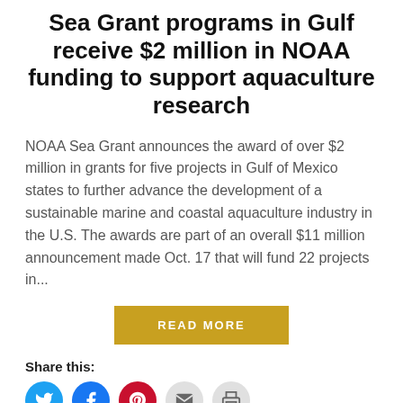Sea Grant programs in Gulf receive $2 million in NOAA funding to support aquaculture research
NOAA Sea Grant announces the award of over $2 million in grants for five projects in Gulf of Mexico states to further advance the development of a sustainable marine and coastal aquaculture industry in the U.S. The awards are part of an overall $11 million announcement made Oct. 17 that will fund 22 projects in...
READ MORE
Share this:
[Figure (infographic): Row of social sharing icons: Twitter (blue circle), Facebook (blue circle), Pinterest (red circle), Email (gray circle), Print (gray circle)]
Like this: